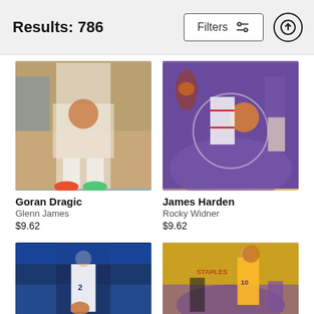Results: 786
Filters
[Figure (photo): NBA basketball player Goran Dragic on court, showing legs and colorful sneakers, by Glenn James]
Goran Dragic
Glenn James
$9.62
[Figure (photo): James Harden dunking or playing near the basket, aerial/overhead view, purple court, by Rocky Widner]
James Harden
Rocky Widner
$9.62
[Figure (photo): NBA player #2 in white uniform on blue court, Orlando Magic]
[Figure (photo): NBA player in Lakers uniform going for a layup, yellow court with purple, Staples Center]